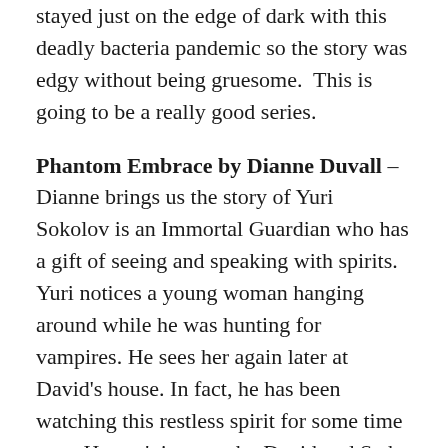stayed just on the edge of dark with this deadly bacteria pandemic so the story was edgy without being gruesome.  This is going to be a really good series.
Phantom Embrace by Dianne Duvall – Dianne brings us the story of Yuri Sokolov is an Immortal Guardian who has a gift of seeing and speaking with spirits. Yuri notices a young woman hanging around while he was hunting for vampires. He sees her again later at David's house. In fact, he has been watching this restless spirit for some time now. He can't image why David and Seth allowing this spirit to hang around the Guardians until he finds out she is the sister of Bastien Newcombe. Yuri has learned a long time ago not to encourage the spirits since once they realize you can hear them, they never leave you alone. But something about Catherine (Cat) Seddon draws Yuri